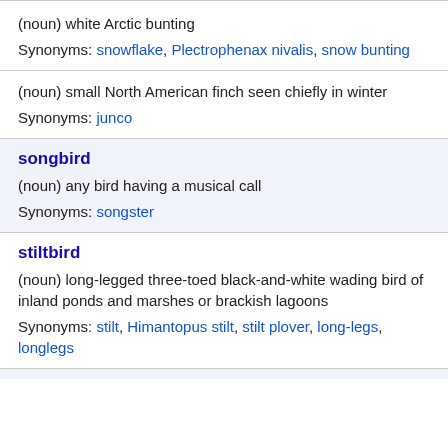(noun) white Arctic bunting
Synonyms: snowflake, Plectrophenax nivalis, snow bunting
(noun) small North American finch seen chiefly in winter
Synonyms: junco
songbird
(noun) any bird having a musical call
Synonyms: songster
stiltbird
(noun) long-legged three-toed black-and-white wading bird of inland ponds and marshes or brackish lagoons
Synonyms: stilt, Himantopus stilt, stilt plover, long-legs, longlegs